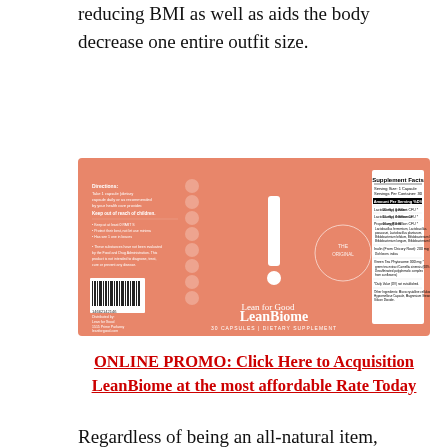reducing BMI as well as aids the body decrease one entire outfit size.
[Figure (photo): Product image of LeanBiome supplement bottle label by Lean for Good, showing a salmon/terracotta colored label with supplement facts panel on the right side, barcode on the left, and the text 'Lean for Good LeanBiome 30 Capsules Dietary Supplement' in the center.]
ONLINE PROMO: Click Here to Acquisition LeanBiome at the most affordable Rate Today
Regardless of being an all-natural item, LeanBiome is not suitable for minor children as well as expectant as well as breastfeeding women. It is additionally not suggested if an individual